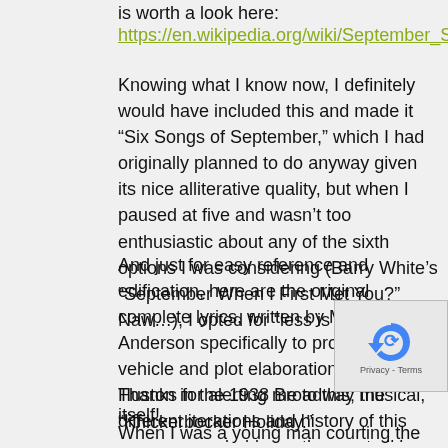is worth a look here:
https://en.wikipedia.org/wiki/September_Song
Knowing what I know now, I definitely would have included this and made it “Six Songs of September,” which I had originally planned to do anyway given its nice alliterative quality, but when I paused at five and wasn’t too enthusiastic about any of the sixth options I was considering (Barry White’s “September When I First Met You?” Naw…), I opted for “less is more.”
And just for easy reference and edification, here are the original complete lyrics, written by Maxwell Anderson specifically to provide a solo vehicle and plot elaboration for Walter Huston in the 1938 Broadway musical, “Knickerbocker Holiday.”
Thanks for alerting me to this; the different iterations and history of this song was probably worth a post all by itself!
When I was a young man courting the girls